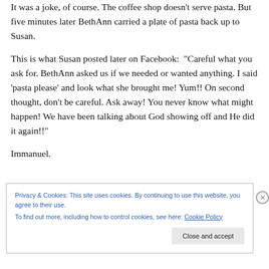It was a joke, of course. The coffee shop doesn't serve pasta. But five minutes later BethAnn carried a plate of pasta back up to Susan.
This is what Susan posted later on Facebook:  "Careful what you ask for. BethAnn asked us if we needed or wanted anything. I said 'pasta please' and look what she brought me! Yum!! On second thought, don't be careful. Ask away! You never know what might happen! We have been talking about God showing off and He did it again!!"
Immanuel.
Privacy & Cookies: This site uses cookies. By continuing to use this website, you agree to their use.
To find out more, including how to control cookies, see here: Cookie Policy